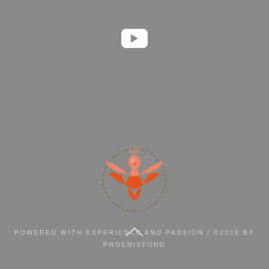[Figure (logo): YouTube play button icon — white rounded rectangle with grey play triangle]
[Figure (logo): Phoenix Fund logo — stylized orange/salmon phoenix bird with wings spread, surrounded by dashed circle]
POWERED WITH EXPERIENCE AND PASSION / ©2018 BY PHOENIXFUND
[Figure (other): Upward chevron / caret arrow icon in light grey]